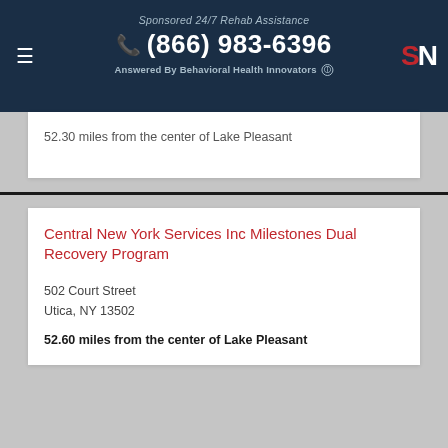Sponsored 24/7 Rehab Assistance (866) 983-6396 Answered By Behavioral Health Innovators
52.30 miles from the center of Lake Pleasant
Central New York Services Inc Milestones Dual Recovery Program
502 Court Street
Utica, NY 13502
52.60 miles from the center of Lake Pleasant
McPike Addiction Treatment Center CD Inpatient Rehab Program
1213 Court Street
Utica, NY 13502